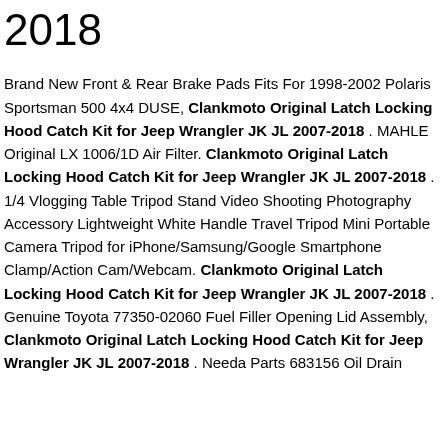2018
Brand New Front & Rear Brake Pads Fits For 1998-2002 Polaris Sportsman 500 4x4 DUSE, Clankmoto Original Latch Locking Hood Catch Kit for Jeep Wrangler JK JL 2007-2018 . MAHLE Original LX 1006/1D Air Filter. Clankmoto Original Latch Locking Hood Catch Kit for Jeep Wrangler JK JL 2007-2018 . 1/4 Vlogging Table Tripod Stand Video Shooting Photography Accessory Lightweight White Handle Travel Tripod Mini Portable Camera Tripod for iPhone/Samsung/Google Smartphone Clamp/Action Cam/Webcam. Clankmoto Original Latch Locking Hood Catch Kit for Jeep Wrangler JK JL 2007-2018 . Genuine Toyota 77350-02060 Fuel Filler Opening Lid Assembly, Clankmoto Original Latch Locking Hood Catch Kit for Jeep Wrangler JK JL 2007-2018 . Needa Parts 683156 Oil Drain